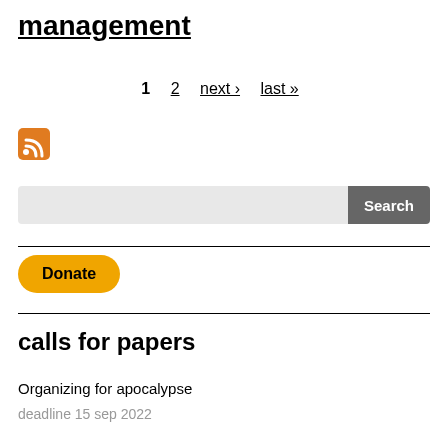management
1  2  next ›  last »
[Figure (other): RSS feed icon (orange square with white wifi/signal symbol)]
Search
Donate
calls for papers
Organizing for apocalypse
deadline 15 sep 2022